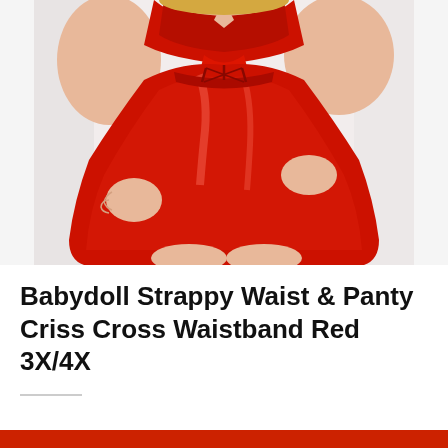[Figure (photo): A plus-size model wearing a red babydoll lingerie set with lace top, sheer flowing skirt overlay, and strappy waist details. Photographed from chest/neck down to mid-thigh against a light background.]
Babydoll Strappy Waist & Panty Criss Cross Waistband Red 3X/4X